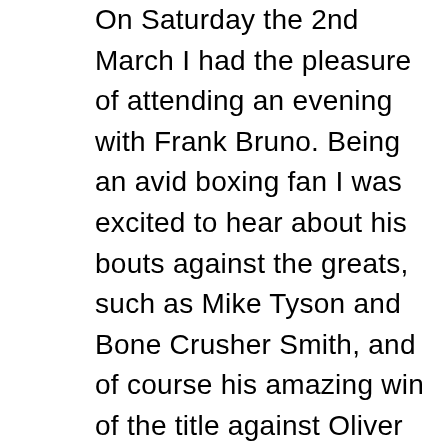On Saturday the 2nd March I had the pleasure of attending an evening with Frank Bruno. Being an avid boxing fan I was excited to hear about his bouts against the greats, such as Mike Tyson and Bone Crusher Smith, and of course his amazing win of the title against Oliver McCall. When these fight's originally occurred I was very young so didn't watch them first hand, I do however remember Mike Tyson Vs Frank Bruno 2. Purely because it was strange to have this on in my nan's house, but there she was up late in all her glory on the date of 16th March 1996 with a Tia Maria in hand, watching this brutal rematch that would see Frank defeated a second time by the animal that is